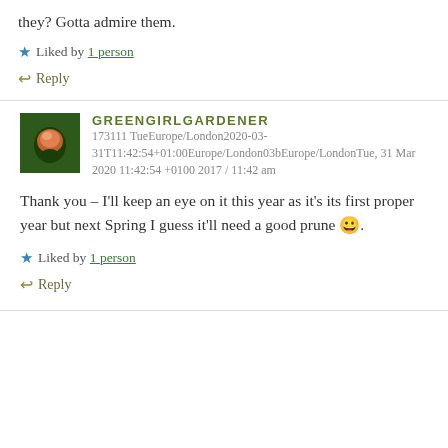they? Gotta admire them.
★ Liked by 1 person
↩ Reply
GREENGIRLGARDENER 173111 TueEurope/London2020-03-31T11:42:54+01:00Europe/London03bEurope/LondonTue, 31 Mar 2020 11:42:54 +0100 2017 / 11:42 am
Thank you – I'll keep an eye on it this year as it's its first proper year but next Spring I guess it'll need a good prune 😀.
★ Liked by 1 person
↩ Reply